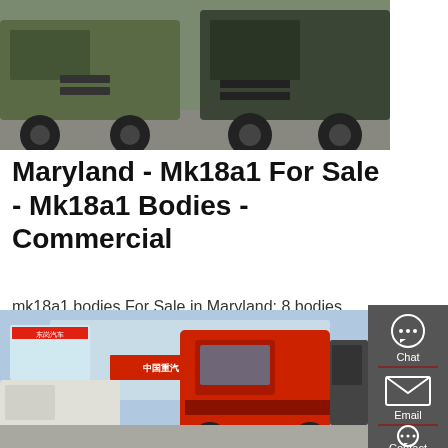[Figure (photo): Trucks photographed from front/low angle, dark and military-green colored trucks on gravel ground]
Maryland - Mk18a1 For Sale - Mk18a1 Bodies - Commercial
mk18a1 bodies For Sale in Maryland: 8 bodies Near You - Find mk18a1 bodies on Commercial Truck Trader.
[Figure (other): GET A QUOTE button (red/orange rounded rectangle)]
[Figure (infographic): Right sidebar with Chat, Email, Contact icons on dark gray background]
[Figure (photo): Commercial trucks including a red SINOTRUK cab at a dealership with Chinese signage]